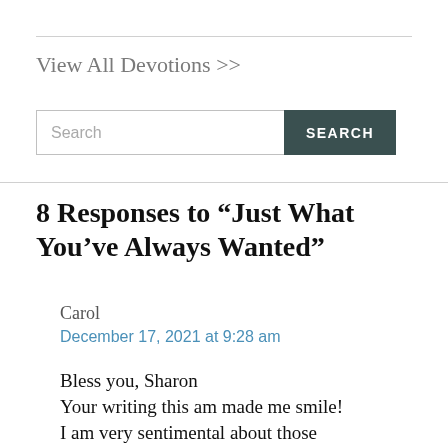View All Devotions >>
Search
8 Responses to “Just What You’ve Always Wanted”
Carol
December 17, 2021 at 9:28 am
Bless you, Sharon
Your writing this am made me smile!
I am very sentimental about those